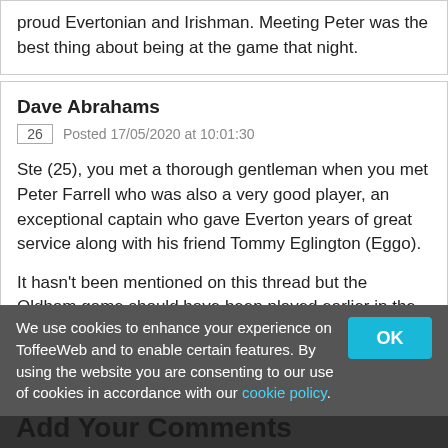proud Evertonian and Irishman. Meeting Peter was the best thing about being at the game that night.
Dave Abrahams
26  Posted 17/05/2020 at 10:01:30
Ste (25), you met a thorough gentleman when you met Peter Farrell who was also a very good player, an exceptional captain who gave Everton years of great service along with his friend Tommy Eglington (Eggo).
It hasn't been mentioned on this thread but the Oldham game should have been played earlier in the season, January, I think, I travelled to Oldham on that bleak dank day only for the game to be postponed... maybe it was a good decision.
We use cookies to enhance your experience on ToffeeWeb and to enable certain features. By using the website you are consenting to our use of cookies in accordance with our cookie policy.
Add Your Comments